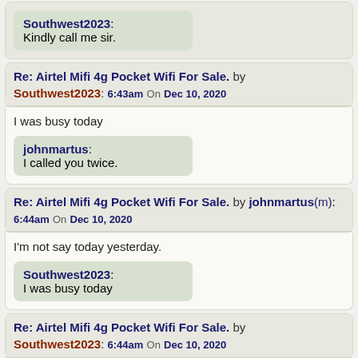Southwest2023: Kindly call me sir.
Re: Airtel Mifi 4g Pocket Wifi For Sale. by Southwest2023: 6:43am On Dec 10, 2020
I was busy today
johnmartus: I called you twice.
Re: Airtel Mifi 4g Pocket Wifi For Sale. by johnmartus(m): 6:44am On Dec 10, 2020
I'm not say today yesterday.
Southwest2023: I was busy today
Re: Airtel Mifi 4g Pocket Wifi For Sale. by Southwest2023: 6:44am On Dec 10, 2020
Sorry yesterday I mean.